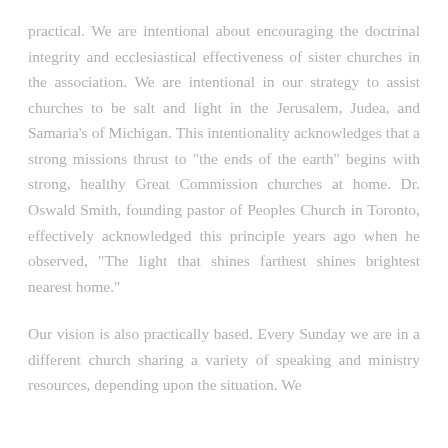practical. We are intentional about encouraging the doctrinal integrity and ecclesiastical effectiveness of sister churches in the association. We are intentional in our strategy to assist churches to be salt and light in the Jerusalem, Judea, and Samaria's of Michigan. This intentionality acknowledges that a strong missions thrust to "the ends of the earth" begins with strong, healthy Great Commission churches at home. Dr. Oswald Smith, founding pastor of Peoples Church in Toronto, effectively acknowledged this principle years ago when he observed, "The light that shines farthest shines brightest nearest home."
Our vision is also practically based. Every Sunday we are in a different church sharing a variety of speaking and ministry resources, depending upon the situation. We